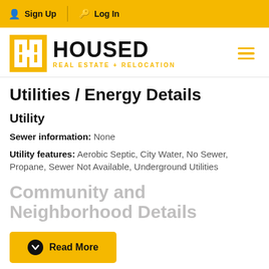Sign Up  Log In
[Figure (logo): HOUSED Real Estate + Relocation logo with golden H icon and hamburger menu]
Utilities / Energy Details
Utility
Sewer information: None
Utility features: Aerobic Septic, City Water, No Sewer, Propane, Sewer Not Available, Underground Utilities
Community and Neighborhood Details
Read More